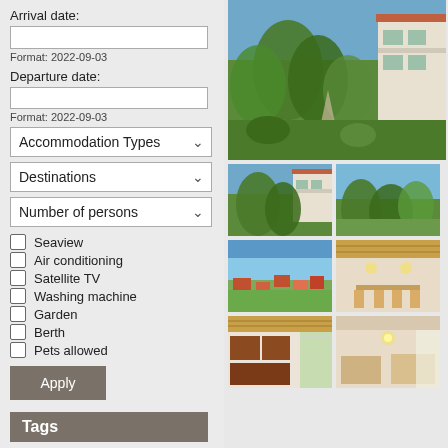Arrival date:
Format: 2022-09-03
Departure date:
Format: 2022-09-03
Accommodation Types
Destinations
Number of persons
Seaview
Air conditioning
Satellite TV
Washing machine
Garden
Berth
Pets allowed
Apply
Tags
[Figure (photo): Exterior view of a holiday villa with lush green garden and olive trees]
[Figure (photo): Exterior thumbnail of villa with olive trees]
[Figure (photo): Exterior thumbnail of garden with trees]
[Figure (photo): Aerial view thumbnail of village with sea in background]
[Figure (photo): Interior thumbnail of dining area]
[Figure (photo): Interior thumbnail of kitchen/room]
[Figure (photo): Interior thumbnail of another room]